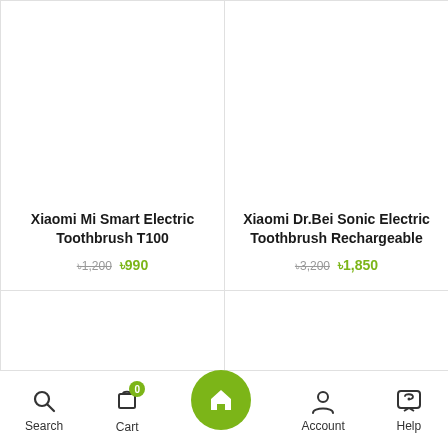[Figure (screenshot): Product grid showing ecommerce app with two product cards on top row and two blank cards on bottom row, plus bottom navigation bar]
Xiaomi Mi Smart Electric Toothbrush T100
৳1,200 ৳990
Xiaomi Dr.Bei Sonic Electric Toothbrush Rechargeable
৳3,200 ৳1,850
Search  Cart (0)  Home  Account  Help